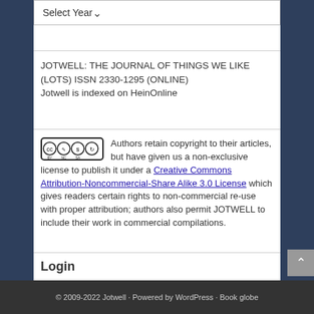Select Year
JOTWELL: THE JOURNAL OF THINGS WE LIKE (LOTS) ISSN 2330-1295 (ONLINE)
Jotwell is indexed on HeinOnline
Authors retain copyright to their articles, but have given us a non-exclusive license to publish it under a Creative Commons Attribution-Noncommercial-Share Alike 3.0 License which gives readers certain rights to non-commercial re-use with proper attribution; authors also permit JOTWELL to include their work in commercial compilations.
Login
© 2009-2022 Jotwell · Powered by WordPress · Book globe